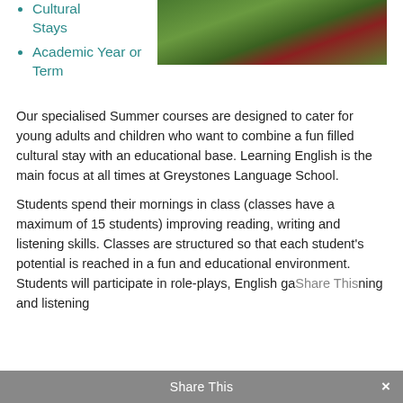[Figure (photo): Outdoor photo showing green grass and red flowers/poppies]
Cultural Stays
Academic Year or Term
Our specialised Summer courses are designed to cater for young adults and children who want to combine a fun filled cultural stay with an educational base. Learning English is the main focus at all times at Greystones Language School.
Students spend their mornings in class (classes have a maximum of 15 students) improving reading, writing and listening skills. Classes are structured so that each student's potential is reached in a fun and educational environment. Students will participate in role-plays, English games, listening and
Share This ×